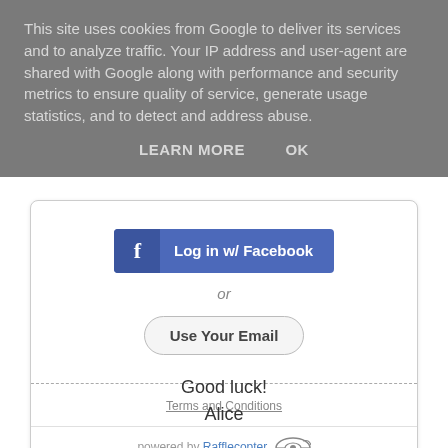This site uses cookies from Google to deliver its services and to analyze traffic. Your IP address and user-agent are shared with Google along with performance and security metrics to ensure quality of service, generate usage statistics, and to detect and address abuse.
LEARN MORE    OK
[Figure (screenshot): Login widget with Facebook login button, 'or' text, and 'Use Your Email' button, followed by Terms and Conditions link and Rafflecopter branding]
Good luck!
Alice